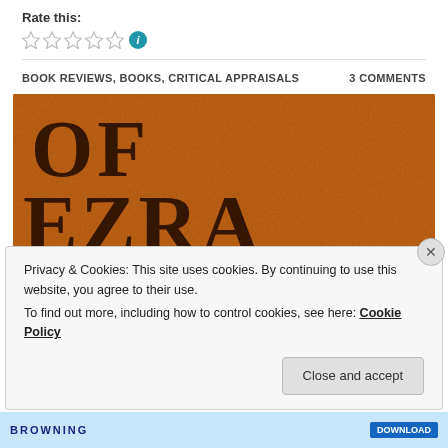Rate this:
[Figure (other): Five empty star rating icons followed by a teal info icon]
BOOK REVIEWS, BOOKS, CRITICAL APPRAISALS     3 COMMENTS
[Figure (photo): Book cover showing text 'OF EZRA POUND' in large serif letters on an orange/brown textured background]
Privacy & Cookies: This site uses cookies. By continuing to use this website, you agree to their use.
To find out more, including how to control cookies, see here: Cookie Policy
Close and accept